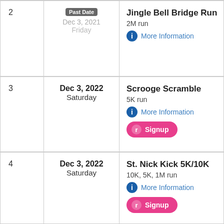| # | Date | Event |
| --- | --- | --- |
| 2 | Past Date
Dec 3, 2021
Friday | Jingle Bell Bridge Run
2M run
More Information |
| 3 | Dec 3, 2022
Saturday | Scrooge Scramble
5K run
More Information
Signup |
| 4 | Dec 3, 2022
Saturday | St. Nick Kick 5K/10K
10K, 5K, 1M run
More Information
Signup |